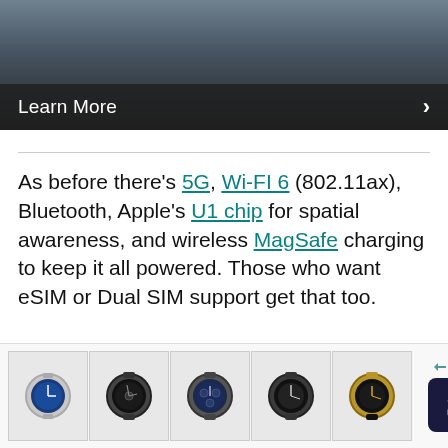[Figure (photo): Screenshot of an article page showing a banner image with a 'Learn More' button and arrow, followed by article body text about iPhone connectivity features (5G, Wi-Fi 6, Bluetooth, U1 chip, MagSafe, eSIM) and a paragraph about Apple transitioning to USB-C on the iPad range. At the bottom is an advertisement strip showing luxury watches.]
As before there's 5G, Wi-Fi 6 (802.11ax), Bluetooth, Apple's U1 chip for spatial awareness, and wireless MagSafe charging to keep it all powered. Those who want eSIM or Dual SIM support get that too.
Apple might have all but made the transition to USB-C on the iPad range (the standard iPad is still holding out though)but hasn't yet made the move fo